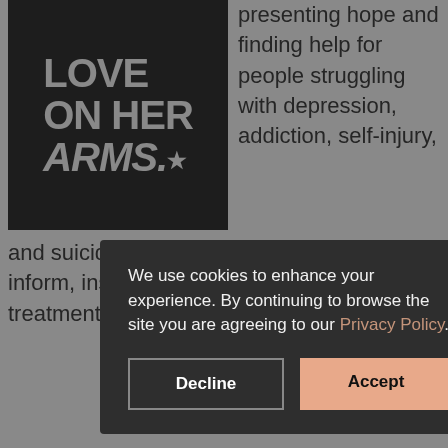[Figure (logo): LOVE ON HER ARMS. logo — white bold text on black background with a small star]
presenting hope and finding help for people struggling with depression, addiction, self-injury, and suicide). TWLOHA exists to encourage, inform, inspire, and invest directly into treatment and recovery. You can read about
We use cookies to enhance your experience. By continuing to browse the site you are agreeing to our Privacy Policy.
Decline
Accept